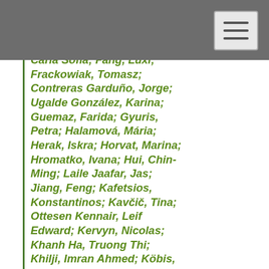Carla Sofia; Fang, Luxi; Frackowiak, Tomasz; Contreras Garduño, Jorge; Ugalde González, Karina; Guemaz, Farida; Gyuris, Petra; Halamová, Mária; Herak, Iskra; Horvat, Marina; Hromatko, Ivana; Hui, Chin-Ming; Laile Jaafar, Jas; Jiang, Feng; Kafetsios, Konstantinos; Kavčič, Tina; Ottesen Kennair, Leif Edward; Kervyn, Nicolas; Khanh Ha, Truong Thi; Khilji, Imran Ahmed; Köbis, Nils C.; Moc Lan, Hoang; Láng, András; Lennard, Georgina R.; León, Ernesto; Lindholm, Torun; Linh, Trinh Thi; Lopez, Giulia; Van Luot